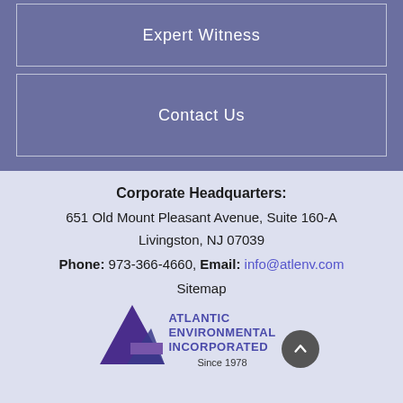Expert Witness
Contact Us
Corporate Headquarters:
651 Old Mount Pleasant Avenue, Suite 160-A
Livingston, NJ 07039
Phone: 973-366-4660, Email: info@atlenv.com
Sitemap
[Figure (logo): Atlantic Environmental Incorporated logo with triangle shapes and text 'Since 1978']